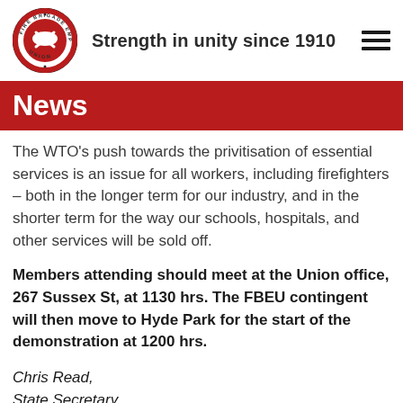Strength in unity since 1910
News
The WTO's push towards the privitisation of essential services is an issue for all workers, including firefighters – both in the longer term for our industry, and in the shorter term for the way our schools, hospitals, and other services will be sold off.
Members attending should meet at the Union office, 267 Sussex St, at 1130 hrs. The FBEU contingent will then move to Hyde Park for the start of the demonstration at 1200 hrs.
Chris Read,
State Secretary